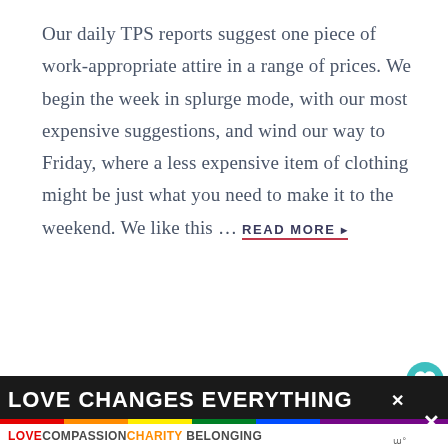Our daily TPS reports suggest one piece of work-appropriate attire in a range of prices. We begin the week in splurge mode, with our most expensive suggestions, and wind our way to Friday, where a less expensive item of clothing might be just what you need to make it to the weekend. We like this … READ MORE ▸
[Figure (infographic): Reader Favorites ~ July 2022 ~ promotional box with pink border showing product/clothing images including a blazer, navy jacket, skincare product, makeup palette, and casual outfit]
[Figure (infographic): Banner ad: LOVE CHANGES EVERYTHING with rainbow stripe and tagline LOVE COMPASSION CHARITY BELONGING]